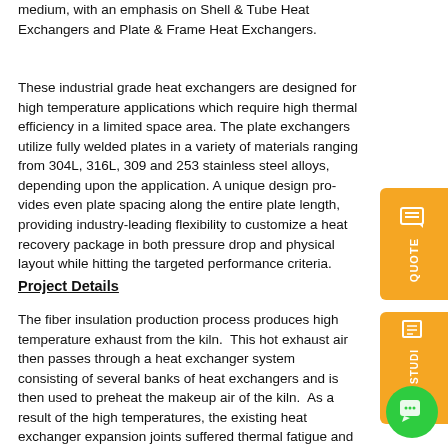medium, with an emphasis on Shell & Tube Heat Exchangers and Plate & Frame Heat Exchangers.
These industrial grade heat exchangers are designed for high temperature applications which require high thermal efficiency in a limited space area. The plate exchangers utilize fully welded plates in a variety of materials ranging from 304L, 316L, 309 and 253 stainless steel alloys, depending upon the application. A unique design provides even plate spacing along the entire plate length, providing industry leading flexibility to customize a heat recovery package in both pressure drop and physical layout while hitting the targeted performance criteria.
Project Details
The fiber insulation production process produces high temperature exhaust from the kiln. This hot exhaust air then passes through a heat exchanger system consisting of several banks of heat exchangers and is then used to preheat the makeup air of the kiln. As a result of the high temperatures, the existing heat exchanger expansion joints suffered thermal fatigue and were burned out and failing. In addition, fibrous particles entrapped in the hot exhaust air were building up in the heat exchanger. The existing unit was located in a confined space